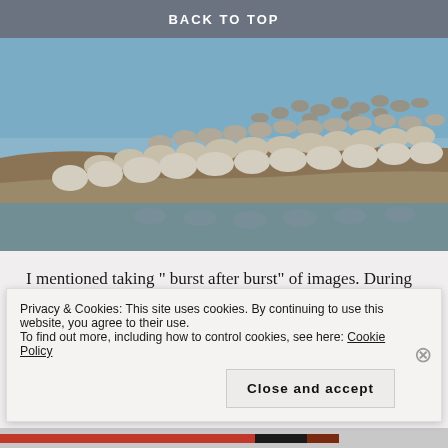BACK TO TOP
[Figure (photo): A large flock of shorebirds (sandpipers or similar wading birds) standing on a muddy shoreline with water in the background and their reflections visible in the water below.]
I mentioned taking “ burst after burst” of images. During this one session alone, lasting about two hours, I took more than seven hundred images. Only a limited number of compositions were available from the hide...
Privacy & Cookies: This site uses cookies. By continuing to use this website, you agree to their use.
To find out more, including how to control cookies, see here: Cookie Policy
Close and accept